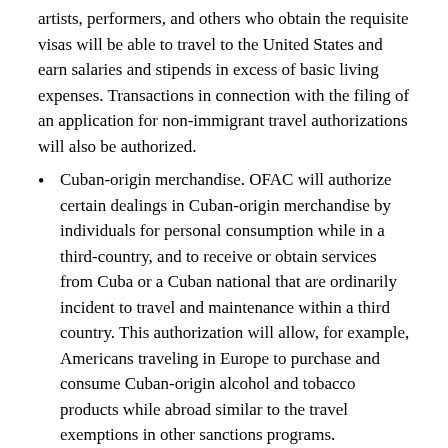artists, performers, and others who obtain the requisite visas will be able to travel to the United States and earn salaries and stipends in excess of basic living expenses. Transactions in connection with the filing of an application for non-immigrant travel authorizations will also be authorized.
Cuban-origin merchandise. OFAC will authorize certain dealings in Cuban-origin merchandise by individuals for personal consumption while in a third-country, and to receive or obtain services from Cuba or a Cuban national that are ordinarily incident to travel and maintenance within a third country. This authorization will allow, for example, Americans traveling in Europe to purchase and consume Cuban-origin alcohol and tobacco products while abroad similar to the travel exemptions in other sanctions programs.
Banking and financial services –